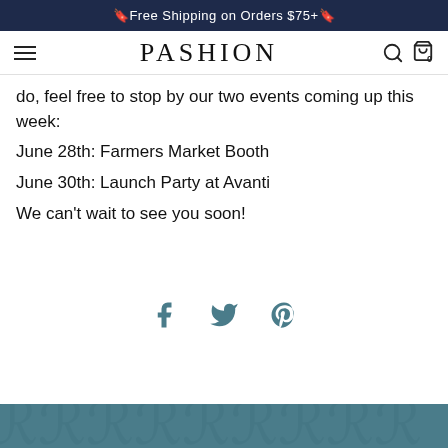🔖Free Shipping on Orders $75+🔖
do, feel free to stop by our two events coming up this week:
June 28th: Farmers Market Booth
June 30th: Launch Party at Avanti
We can't wait to see you soon!
[Figure (other): Social media share icons: Facebook, Twitter, Pinterest]